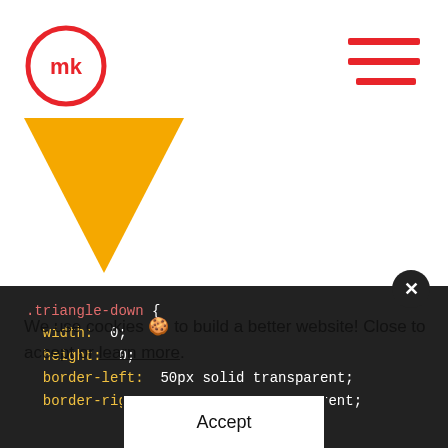[Figure (logo): mk logo: red circle with 'mk' text inside]
[Figure (illustration): Hamburger menu icon: three red horizontal lines]
[Figure (illustration): Yellow/orange downward-pointing triangle]
[Figure (screenshot): CSS code block on dark background showing .triangle-down CSS properties]
We use cookies 🍪 to build a better website! Close to accept or learn more.
[Figure (other): Close (X) button circle]
Accept